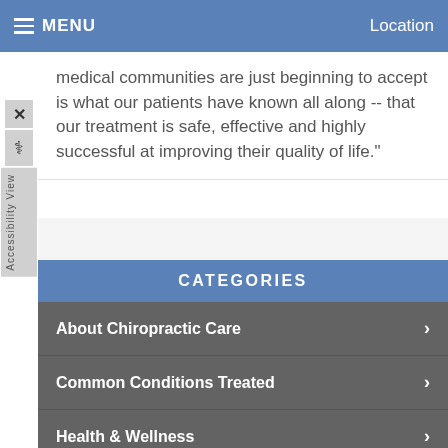MENU   Location
medical communities are just beginning to accept is what our patients have known all along -- that our treatment is safe, effective and highly successful at improving their quality of life."
CATEGORIES
About Chiropractic Care
Common Conditions Treated
Health & Wellness
Therapies & Techniques
Newsletter Library